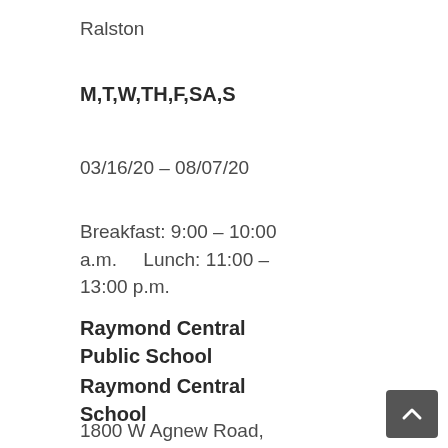Ralston
M,T,W,TH,F,SA,S
03/16/20 – 08/07/20
Breakfast: 9:00 – 10:00 a.m.    Lunch: 11:00 – 13:00 p.m.
Raymond Central Public School
Raymond Central School
1800 W Agnew Road, Raymond